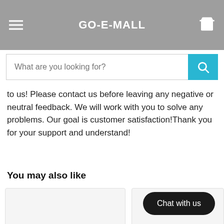GO-E-MALL
to us! Please contact us before leaving any negative or neutral feedback. We will work with you to solve any problems. Our goal is customer satisfaction! Thank you for your support and understand!
You may also like
[Figure (other): Two product card placeholders in a 'You may also like' section with a 'Chat with us' button overlay]